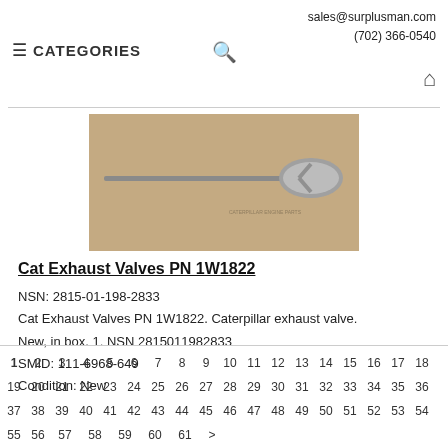sales@surplusman.com
(702) 366-0540
≡ CATEGORIES
[Figure (photo): Photo of a Cat exhaust valve (PN 1W1822) — a long metal valve stem with a flared disc head at one end, lying on tan/brown paper packaging.]
Cat Exhaust Valves PN 1W1822
NSN: 2815-01-198-2833
Cat Exhaust Valves PN 1W1822. Caterpillar exhaust valve. New, in box. 1. NSN 2815011982833
SMID: 111-6968-649
Condition: New
1 2 3 4 5 6 7 8 9 10 11 12 13 14 15 16 17 18 19 20 21 22 23 24 25 26 27 28 29 30 31 32 33 34 35 36 37 38 39 40 41 42 43 44 45 46 47 48 49 50 51 52 53 54 55 56 57 58 59 60 61 >